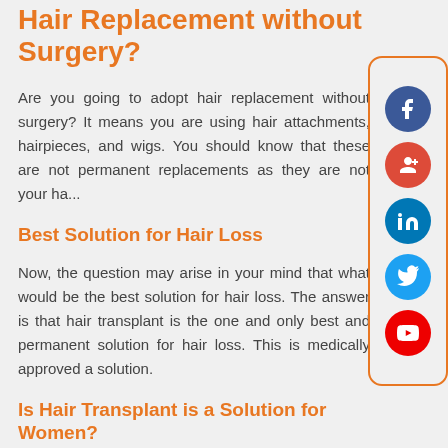Hair Replacement without Surgery?
Are you going to adopt hair replacement without surgery? It means you are using hair attachments, hairpieces, and wigs. You should know that these are not permanent replacements as they are not your ha...
Best Solution for Hair Loss
Now, the question may arise in your mind that what would be the best solution for hair loss. The answer is that hair transplant is the one and only best and permanent solution for hair loss. This is medically approved a solution.
Is Hair Transplant is a Solution for Women?
Some people have the concern whether hair transplant is the best solution for women or not. Hair transplant...
[Figure (infographic): Social media sharing sidebar with icons for Facebook, Google+, LinkedIn, Twitter, and YouTube, enclosed in an orange rounded rectangle border.]